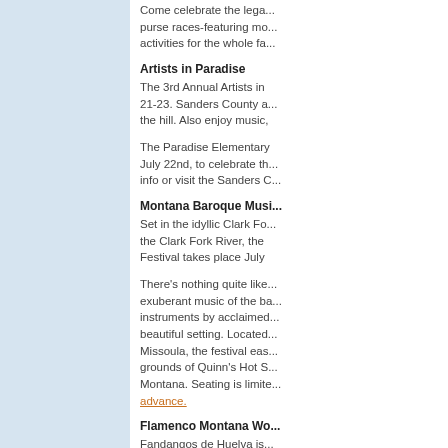Come celebrate the lega... purse races-featuring mo... activities for the whole fa...
Artists in Paradise
The 3rd Annual Artists in ... 21-23. Sanders County a... the hill. Also enjoy music,...
The Paradise Elementary... July 22nd, to celebrate th... info or visit the Sanders C...
Montana Baroque Musi...
Set in the idyllic Clark Fo... the Clark Fork River, the ... Festival takes place July ...
There’s nothing quite like... exuberant music of the ba... instruments by acclaimed... beautiful setting. Located... Missoula, the festival eas... grounds of Quinn’s Hot S... Montana. Seating is limite... advance.
Flamenco Montana Wo...
Fandangos de Huelva is...